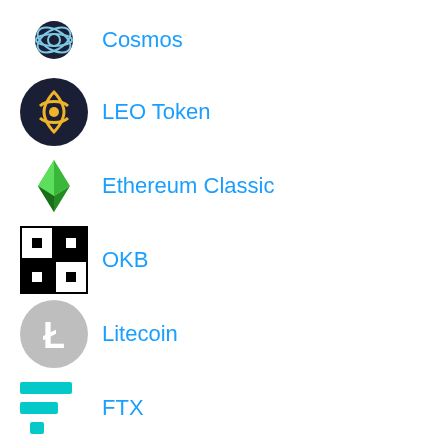Cosmos
LEO Token
Ethereum Classic
OKB
Litecoin
FTX
Near
Cosmos Hub
FTX Token
Chainlink
Currency Converter
Popular Currencies